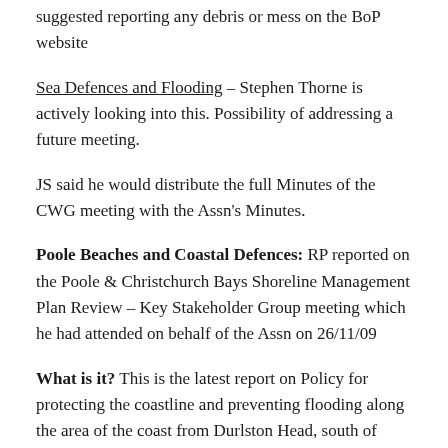suggested reporting any debris or mess on the BoP website
Sea Defences and Flooding – Stephen Thorne is actively looking into this. Possibility of addressing a future meeting.
JS said he would distribute the full Minutes of the CWG meeting with the Assn's Minutes.
Poole Beaches and Coastal Defences: RP reported on the Poole & Christchurch Bays Shoreline Management Plan Review – Key Stakeholder Group meeting which he had attended on behalf of the Assn on 26/11/09
What is it? This is the latest report on Policy for protecting the coastline and preventing flooding along the area of the coast from Durlston Head, south of Swanage to Hurst Spit, east of Milford on Sea.